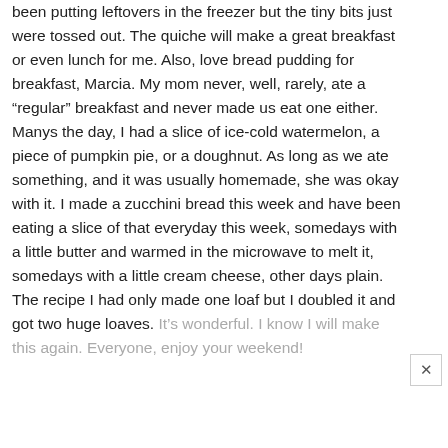been putting leftovers in the freezer but the tiny bits just were tossed out. The quiche will make a great breakfast or even lunch for me. Also, love bread pudding for breakfast, Marcia. My mom never, well, rarely, ate a “regular” breakfast and never made us eat one either. Manys the day, I had a slice of ice-cold watermelon, a piece of pumpkin pie, or a doughnut. As long as we ate something, and it was usually homemade, she was okay with it. I made a zucchini bread this week and have been eating a slice of that everyday this week, somedays with a little butter and warmed in the microwave to melt it, somedays with a little cream cheese, other days plain. The recipe I had only made one loaf but I doubled it and got two huge loaves. It’s wonderful. I know I will make this again. Everyone, enjoy your weekend!